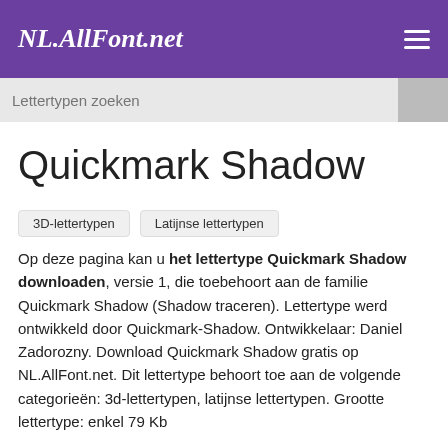NL.AllFont.net
Quickmark Shadow
3D-lettertypen
Latijnse lettertypen
Op deze pagina kan u het lettertype Quickmark Shadow downloaden, versie 1, die toebehoort aan de familie Quickmark Shadow (Shadow traceren). Lettertype werd ontwikkeld door Quickmark-Shadow. Ontwikkelaar: Daniel Zadorozny. Download Quickmark Shadow gratis op NL.AllFont.net. Dit lettertype behoort toe aan de volgende categorieën: 3d-lettertypen, latijnse lettertypen. Grootte lettertype: enkel 79 Kb